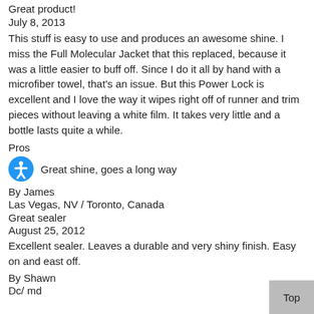Great product!
July 8, 2013
This stuff is easy to use and produces an awesome shine. I miss the Full Molecular Jacket that this replaced, because it was a little easier to buff off. Since I do it all by hand with a microfiber towel, that's an issue. But this Power Lock is excellent and I love the way it wipes right off of runner and trim pieces without leaving a white film. It takes very little and a bottle lasts quite a while.
Pros
Great shine, goes a long way
By James
Las Vegas, NV / Toronto, Canada
Great sealer
August 25, 2012
Excellent sealer. Leaves a durable and very shiny finish. Easy on and east off.
By Shawn
Dc/ md